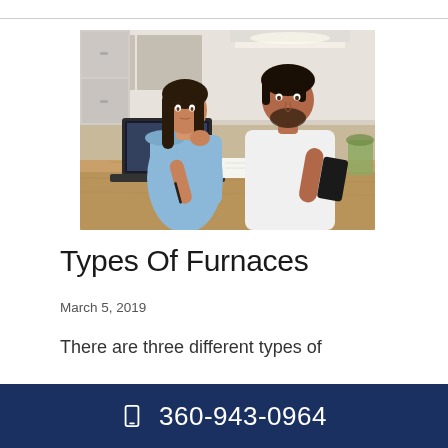[Figure (photo): A young couple sitting at a kitchen table, the woman in a blue off-shoulder top holding a pen over papers next to a laptop, the man in a white t-shirt looking at the papers while holding a phone, with coffee mugs on the table.]
Types Of Furnaces
March 5, 2019
There are three different types of
☐  360-943-0964